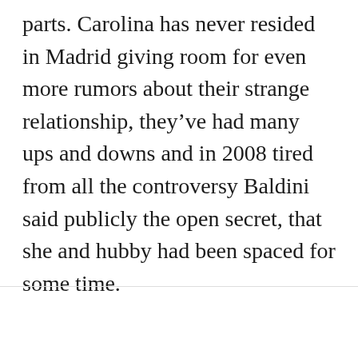parts. Carolina has never resided in Madrid giving room for even more rumors about their strange relationship, they've had many ups and downs and in 2008 tired from all the controversy Baldini said publicly the open secret, that she and hubby had been spaced for some time.
[Figure (other): Broken image placeholder with pink label text 'diego-simeone-wife' and an orange scroll-to-top button]